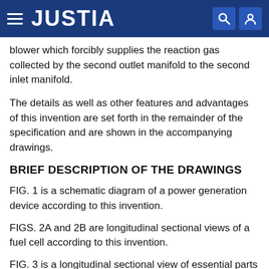JUSTIA
blower which forcibly supplies the reaction gas collected by the second outlet manifold to the second inlet manifold.
The details as well as other features and advantages of this invention are set forth in the remainder of the specification and are shown in the accompanying drawings.
BRIEF DESCRIPTION OF THE DRAWINGS
FIG. 1 is a schematic diagram of a power generation device according to this invention.
FIGS. 2A and 2B are longitudinal sectional views of a fuel cell according to this invention.
FIG. 3 is a longitudinal sectional view of essential parts of